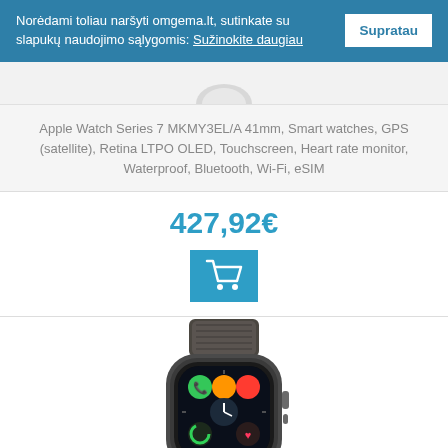Norėdami toliau naršyti omgema.lt, sutinkate su slapukų naudojimo sąlygomis: Sužinokite daugiau
Supratau
[Figure (photo): Partial top of Apple Watch product image (cut off at top)]
Apple Watch Series 7 MKMY3EL/A 41mm, Smart watches, GPS (satellite), Retina LTPO OLED, Touchscreen, Heart rate monitor, Waterproof, Bluetooth, Wi-Fi, eSIM
427,92€
[Figure (illustration): Shopping cart icon on blue button]
[Figure (photo): Apple Watch with dark nylon loop band, space gray case, showing watch face with multiple app icons]